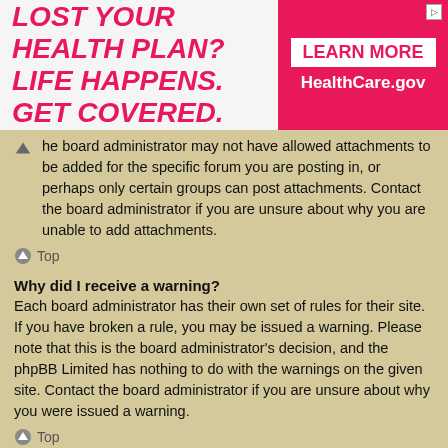[Figure (other): Advertisement banner: 'LOST YOUR HEALTH PLAN? LIFE HAPPENS. GET COVERED.' with 'LEARN MORE HealthCare.gov' on pink background]
he board administrator may not have allowed attachments to be added for the specific forum you are posting in, or perhaps only certain groups can post attachments. Contact the board administrator if you are unsure about why you are unable to add attachments.
Top
Why did I receive a warning?
Each board administrator has their own set of rules for their site. If you have broken a rule, you may be issued a warning. Please note that this is the board administrator's decision, and the phpBB Limited has nothing to do with the warnings on the given site. Contact the board administrator if you are unsure about why you were issued a warning.
Top
How can I report posts to a moderator?
If the board administrator has allowed it, you should see a button for reporting posts next to the post you wish to report. Clicking this will walk you through the steps necessary to report the post.
Top